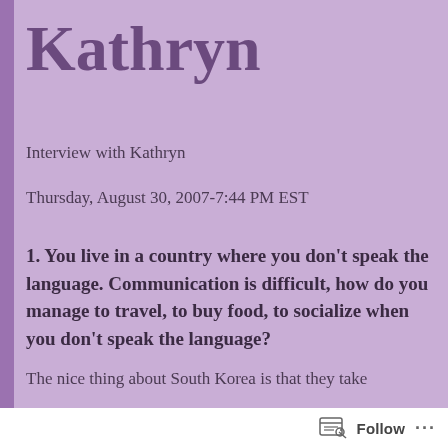Kathryn
Interview with Kathryn
Thursday, August 30, 2007-7:44 PM EST
1. You live in a country where you don't speak the language. Communication is difficult, how do you manage to travel, to buy food, to socialize when you don't speak the language?
The nice thing about South Korea is that they take